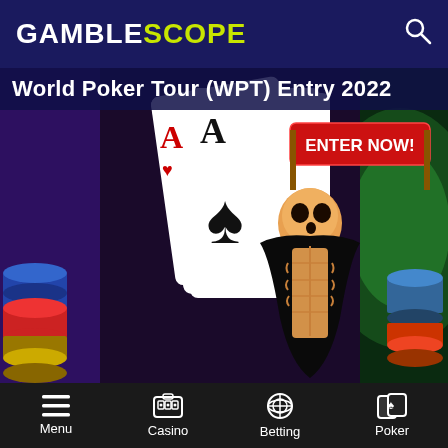GAMBLESCOPE
World Poker Tour (WPT) Entry 2022
[Figure (illustration): Promotional banner for World Poker Tour 2022 showing a skeleton character in a dark cloak emerging from playing cards (Ace of spades, Ace of hearts) with a red 'ENTER NOW!' button banner, poker chips stacked on left and right sides, against a dark background with green glow on the right.]
[Figure (illustration): Americas Cardroom promotional banner showing their logo with a star, '+' symbols, poker chip, and partial text '100% WELCOME BONUS'.]
Menu | Casino | Betting | Poker